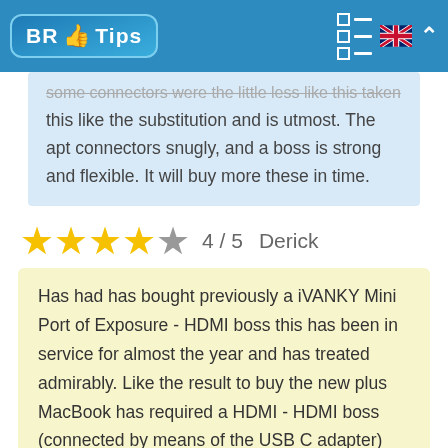BR Tips
some connectors were the little less like this taken this like the substitution and is utmost. The apt connectors snugly, and a boss is strong and flexible. It will buy more these in time.
4 / 5   Derick
Has had has bought previously a iVANKY Mini Port of Exposure - HDMI boss this has been in service for almost the year and has treated admirably. Like the result to buy the new plus MacBook has required a HDMI - HDMI boss (connected by means of the USB C adapter) and